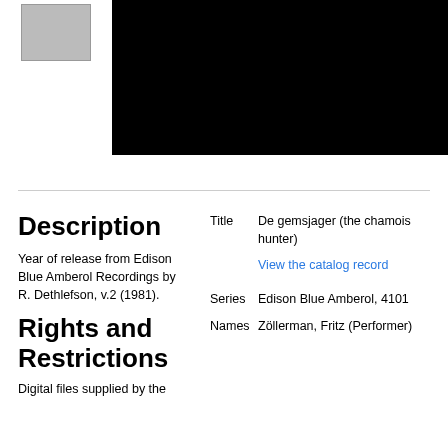[Figure (photo): Top area: left portion shows a small image/thumbnail on white background; right portion is a large black rectangle (image area)]
Description
Year of release from Edison Blue Amberol Recordings by R. Dethlefson, v.2 (1981).
Rights and Restrictions
Digital files supplied by the
| Field | Value |
| --- | --- |
| Title | De gemsjager (the chamois hunter) |
|  | View the catalog record |
| Series | Edison Blue Amberol, 4101 |
| Names | Zöller man, Fritz (Performer) |